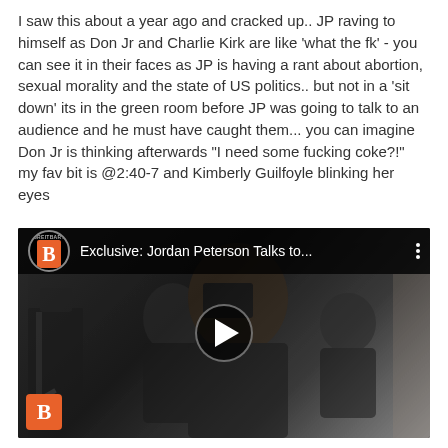I saw this about a year ago and cracked up.. JP raving to himself as Don Jr and Charlie Kirk are like 'what the fk' - you can see it in their faces as JP is having a rant about abortion, sexual morality and the state of US politics.. but not in a 'sit down' its in the green room before JP was going to talk to an audience and he must have caught them... you can imagine Don Jr is thinking afterwards "I need some fucking coke?!"  my fav bit is @2:40-7 and Kimberly Guilfoyle blinking her eyes
[Figure (screenshot): YouTube video embed showing a Breitbart video titled 'Exclusive: Jordan Peterson Talks to...' with a thumbnail of people in a room, dark background, play button in center, Breitbart B logo at bottom left]